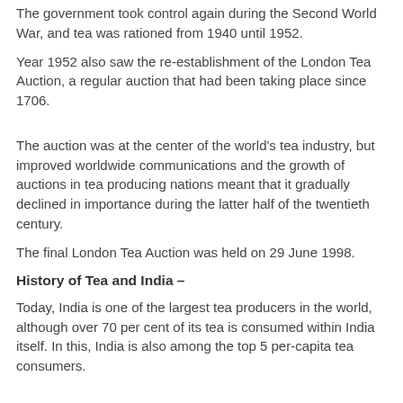The government took control again during the Second World War, and tea was rationed from 1940 until 1952.
Year 1952 also saw the re-establishment of the London Tea Auction, a regular auction that had been taking place since 1706.
The auction was at the center of the world's tea industry, but improved worldwide communications and the growth of auctions in tea producing nations meant that it gradually declined in importance during the latter half of the twentieth century.
The final London Tea Auction was held on 29 June 1998.
History of Tea and India –
Today, India is one of the largest tea producers in the world, although over 70 per cent of its tea is consumed within India itself. In this, India is also among the top 5 per-capita tea consumers.